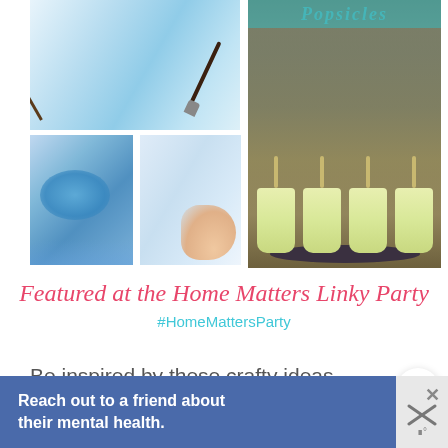[Figure (photo): Collage of four photos: top-left shows a paintbrush on blue watercolor paper, bottom-left shows hands with blue pigment/paint, bottom-right shows a hand on wet watercolor, right side shows cream/yellow popsicles on a dark plate on a wooden background with teal text 'Popsicles' partially visible at top.]
Featured at the Home Matters Linky Party
#HomeMattersParty
Be inspired by these crafty ideas for home dec and fun and tasty recipes!
[Figure (infographic): What's Next widget showing a circular thumbnail and text: WHAT'S NEXT → 5 Things To Buy For...]
[Figure (infographic): Advertisement banner: Reach out to a friend about their mental health. with X close button and logo on right.]